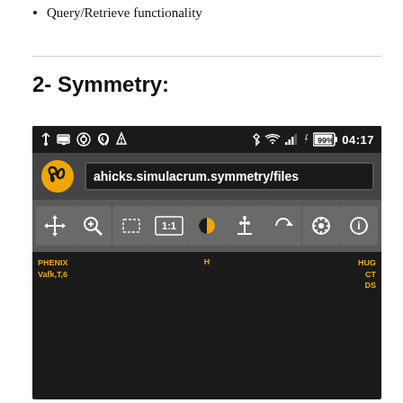Query/Retrieve functionality
2- Symmetry:
[Figure (screenshot): Mobile app screenshot showing a medical image viewer. Status bar at top shows icons and time 04:17 with 99% battery. Address bar shows 'ahicks.simulacrum.symmetry/files' with a yellow spiral logo. Toolbar with icons: move, zoom, select, 1:1, contrast, axis, rotate, grid, info. Below is a grayscale CT scan image with annotations: PHENIX Vafk,T,6 on left, H in center, HUG CT DS on right.]